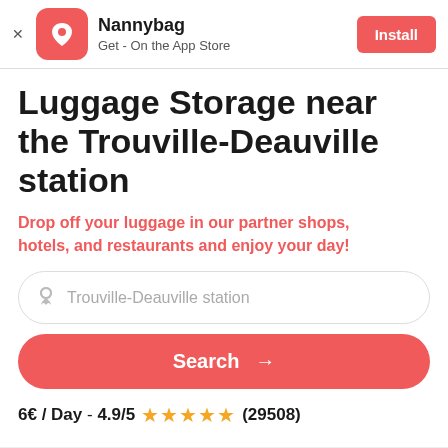[Figure (logo): Nannybag app banner with logo, name, tagline and Install button]
Luggage Storage near the Trouville-Deauville station
Drop off your luggage in our partner shops, hotels, and restaurants and enjoy your day!
Trouville-Deauville station (search input)
Search →
6€ / Day  -  4.9/5 ★★★★★ (29508)
Home > Luggage Storage Deauville > Luggage Storage Trouville-Deauville station